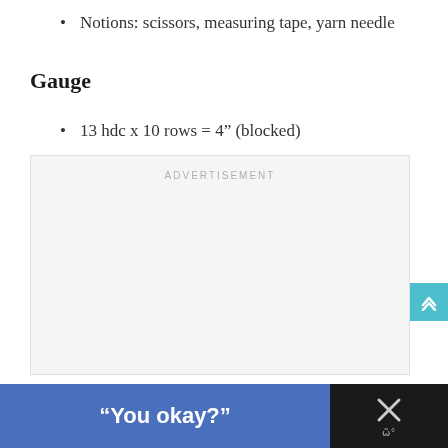Notions: scissors, measuring tape, yarn needle
Gauge
13 hdc x 10 rows = 4" (blocked)
[Figure (other): Advertisement placeholder box with 'ADVERTISEMENT' text label in light gray]
"You okay?"